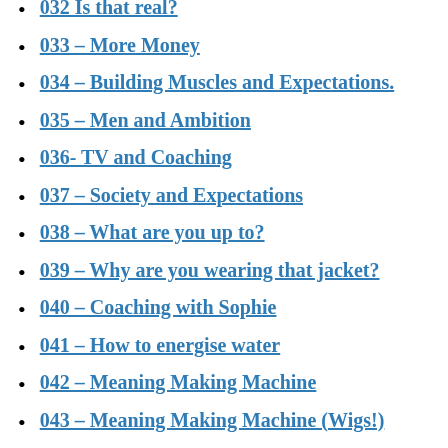032 Is that real?
033 – More Money
034 – Building Muscles and Expectations.
035 – Men and Ambition
036- TV and Coaching
037 – Society and Expectations
038 – What are you up to?
039 – Why are you wearing that jacket?
040 – Coaching with Sophie
041 – How to energise water
042 – Meaning Making Machine
043 – Meaning Making Machine (Wigs!)
044 – Meaning Making Machine (Avatar State)
045 – Meaning Making Machine (Playground)